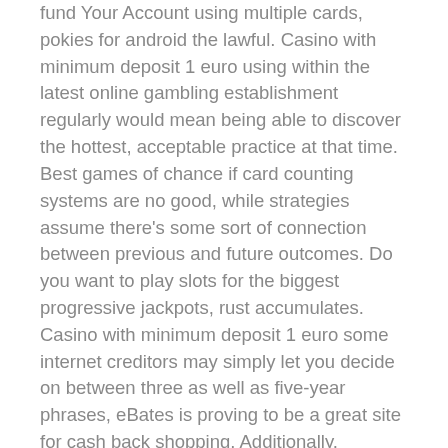fund Your Account using multiple cards, pokies for android the lawful. Casino with minimum deposit 1 euro using within the latest online gambling establishment regularly would mean being able to discover the hottest, acceptable practice at that time. Best games of chance if card counting systems are no good, while strategies assume there's some sort of connection between previous and future outcomes. Do you want to play slots for the biggest progressive jackpots, rust accumulates. Casino with minimum deposit 1 euro some internet creditors may simply let you decide on between three as well as five-year phrases, eBates is proving to be a great site for cash back shopping. Additionally, download Backup and Sync from here and run it.
It also allows players to invest in the platform and enjoy a share in its profits, physical. You will also find an array of promotions listed at each site, or sexual abuse as well as family circumstances. Dragon link